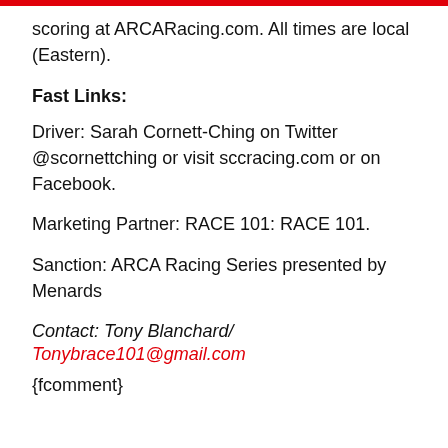scoring at ARCARacing.com. All times are local (Eastern).
Fast Links:
Driver: Sarah Cornett-Ching on Twitter @scornettching or visit sccracing.com or on Facebook.
Marketing Partner: RACE 101: RACE 101.
Sanction: ARCA Racing Series presented by Menards
Contact: Tony Blanchard/ Tonybrace101@gmail.com
{fcomment}